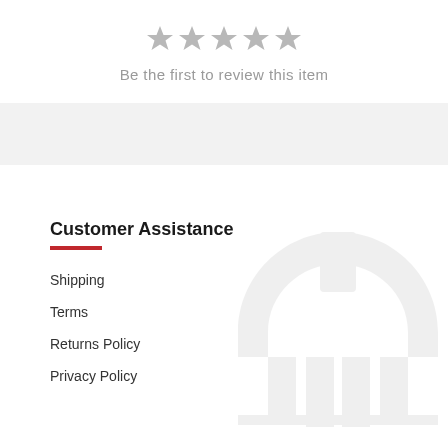[Figure (other): Five empty star rating icons in grey]
Be the first to review this item
Customer Assistance
Shipping
Terms
Returns Policy
Privacy Policy